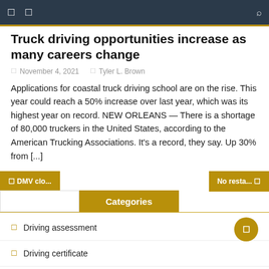Truck driving opportunities increase as many careers change
November 4, 2021  Tyler L. Brown
Applications for coastal truck driving school are on the rise. This year could reach a 50% increase over last year, which was its highest year on record. NEW ORLEANS — There is a shortage of 80,000 truckers in the United States, according to the American Trucking Associations. It's a record, they say. Up 30% from [...]
Categories
Driving assessment
Driving certificate